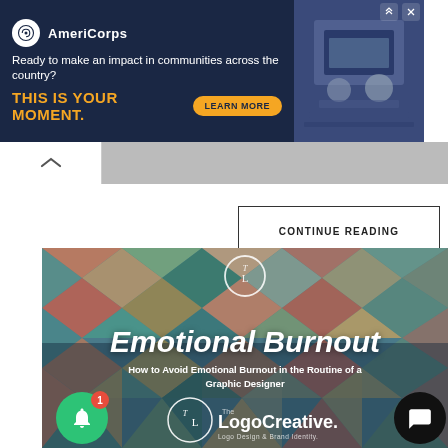[Figure (screenshot): AmeriCorps advertisement banner with dark navy background. Logo, tagline 'Ready to make an impact in communities across the country?', headline 'THIS IS YOUR MOMENT.', LEARN MORE button, and photo of people at computers.]
[Figure (screenshot): Collapse/minimize bar with up arrow chevron on white tab and gray bar.]
CONTINUE READING
[Figure (illustration): Article thumbnail for 'Emotional Burnout - How to Avoid Emotional Burnout in the Routine of a Graphic Designer' by The Logo Creative. Colorful geometric diamond/rhombus pattern background in teal, terracotta, olive, beige tones. White TL logo circle at top center. Bold white italic title text. White subtitle text below. The Logo Creative logo at bottom with notification bell (green circle with badge '1') and chat bubble (black circle) overlay buttons.]